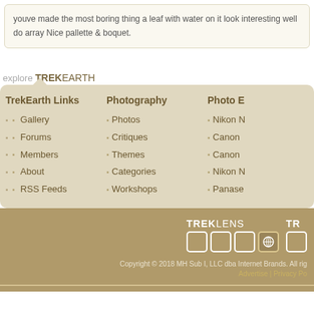youve made the most boring thing a leaf with water on it look interesting well do array Nice pallette & boquet.
explore TREKEARTH
TrekEarth Links
Gallery
Forums
Members
About
RSS Feeds
Photography
Photos
Critiques
Themes
Categories
Workshops
Photo E...
Nikon ...
Canon ...
Canon ...
Nikon ...
Panase...
[Figure (logo): TREKLENS logo with square boxes and globe icon, and partial TR logo to the right]
Copyright © 2018 MH Sub I, LLC dba Internet Brands. All rig Advertise | Privacy Po